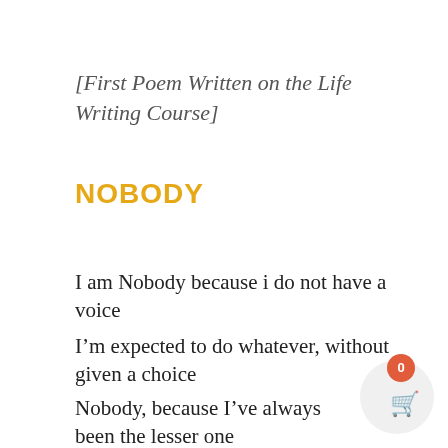[First Poem Written on the Life Writing Course]
NOBODY
I am Nobody because i do not have a voice
I’m expected to do whatever, without given a choice
Nobody, because I’ve always been the lesser one
If anything goes wrong, it’s cos of